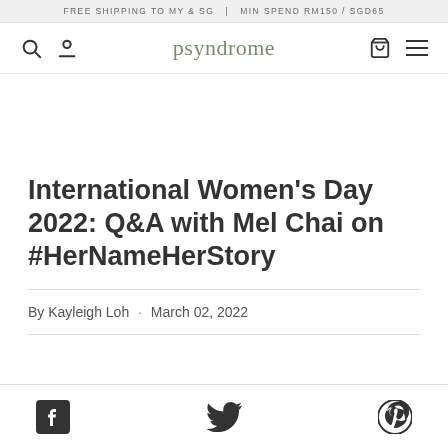FREE SHIPPING TO MY & SG  |  MIN SPEND RM150 / SGD65
psyndrome
International Women's Day 2022: Q&A with Mel Chai on #HerNameHerStory
By Kayleigh Loh · March 02, 2022
[Figure (other): Social share icons: Facebook, Twitter, Pinterest]